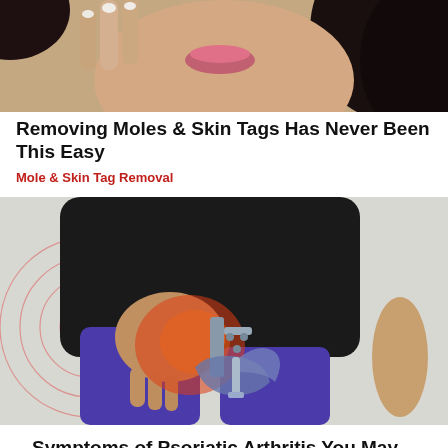[Figure (photo): Close-up of a woman's lower face and chin area, holding something near her skin, with dark curly hair visible. Related to mole and skin tag removal.]
Removing Moles & Skin Tags Has Never Been This Easy
Mole & Skin Tag Removal
[Figure (photo): Person in a black shirt and blue/purple leggings bending forward, holding their hip area. A medical illustration of a hip joint with bolts/implant is overlaid, along with red pain indicator circles. Related to psoriatic arthritis symptoms.]
Symptoms of Psoriatic Arthritis You May Wish You Knew Sooner